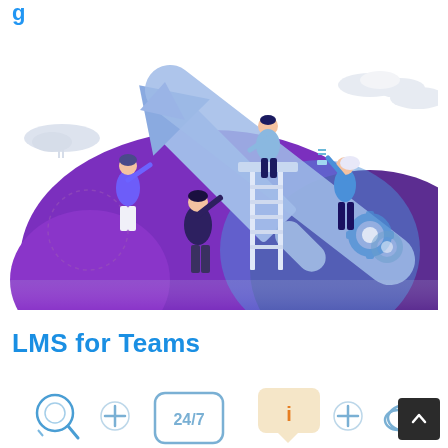g...
[Figure (illustration): Flat vector illustration showing team members working together: a woman pushing up a large blue arrow, a man in dark hoodie helping lift the arrow, a person standing on a ladder/platform guiding it, and a woman on the right holding a lightbulb. Background features purple mountain shapes, clouds, gear icons, and a blimp. Reflection effect at the bottom.]
LMS for Teams
[Figure (infographic): Row of small icon graphics at the bottom of the page: magnifying glass, plus sign, 24/7 badge, info speech bubble, plus sign, cloud icon — UI elements suggesting features or navigation icons.]